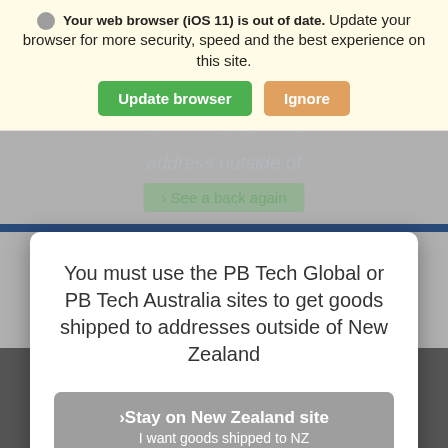Your web browser (iOS 11) is out of date. Update your browser for more security, speed and the best experience on this site.
Update browser | Ignore
It looks like you are trying to buy outside of ...
You must use the PB Tech Global or PB Tech Australia sites to get goods shipped to addresses outside of New Zealand
>Stay on New Zealand site
I want goods shipped to NZ
>Take me to the Global site
I want goods shipped outside of NZ
Or visit www.pbtech.com/au for shipping to Australia destinations